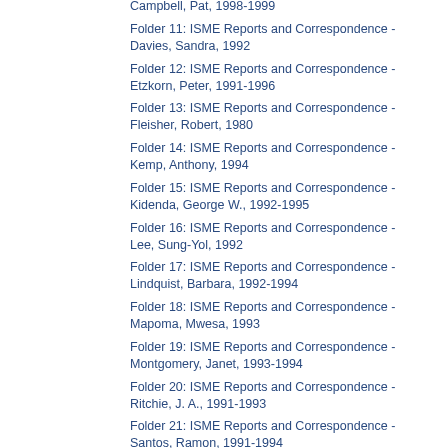Campbell, Pat, 1998-1999
Folder 11: ISME Reports and Correspondence - Davies, Sandra, 1992
Folder 12: ISME Reports and Correspondence - Etzkorn, Peter, 1991-1996
Folder 13: ISME Reports and Correspondence - Fleisher, Robert, 1980
Folder 14: ISME Reports and Correspondence - Kemp, Anthony, 1994
Folder 15: ISME Reports and Correspondence - Kidenda, George W., 1992-1995
Folder 16: ISME Reports and Correspondence - Lee, Sung-Yol, 1992
Folder 17: ISME Reports and Correspondence - Lindquist, Barbara, 1992-1994
Folder 18: ISME Reports and Correspondence - Mapoma, Mwesa, 1993
Folder 19: ISME Reports and Correspondence - Montgomery, Janet, 1993-1994
Folder 20: ISME Reports and Correspondence - Ritchie, J. A., 1991-1993
Folder 21: ISME Reports and Correspondence - Santos, Ramon, 1991-1994
Folder 22: ISME Reports and Correspondence - Smith, Elizabeth, 1991-1994